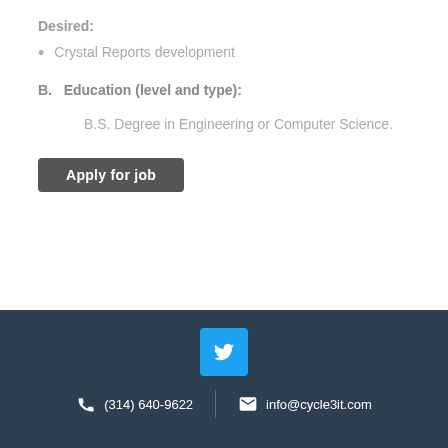Desired:
Crystal Reports development
B.  Education (level and type):
B.S. Degree in Engineering or Computer Science.
Apply for job
(314) 640-9622   info@cycle3it.com